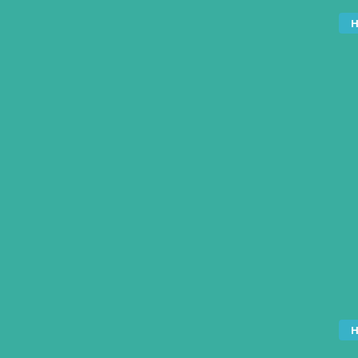[Figure (photo): Left teal/green background panel]
[Figure (photo): Hotel card showing Pietra e Mare Luxury Suites. Top: photo of stone building with mountain backdrop and blue sky. Middle: white logo box with PietraeMare script logo. Bottom: hotel name link 'Pietra e Mare Luxury Suites' and location 'Skala Potamia'. A teal 'H' badge in top right corner.]
[Figure (photo): Second hotel card partially visible. Teal 'H' badge in top right corner. Photo shows aerial view of dense green forest with a yellow smiley face icon overlay.]